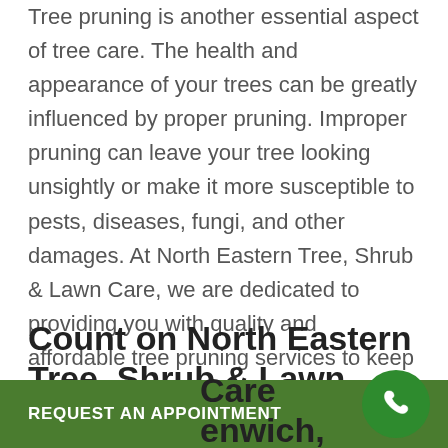Tree pruning is another essential aspect of tree care. The health and appearance of your trees can be greatly influenced by proper pruning. Improper pruning can leave your tree looking unsightly or make it more susceptible to pests, diseases, fungi, and other damages. At North Eastern Tree, Shrub & Lawn Care, we are dedicated to providing you with quality and affordable tree pruning services to keep your trees lush and healthy. Our certified arborists have the knowledge and tools to offer complete tree pruning services including general maintenance, corrective pruning, crown thinning, and more.
Count on North Eastern Tree, Shrub & Lawn Care for Tree Care in Greenwich, CT
REQUEST AN APPOINTMENT